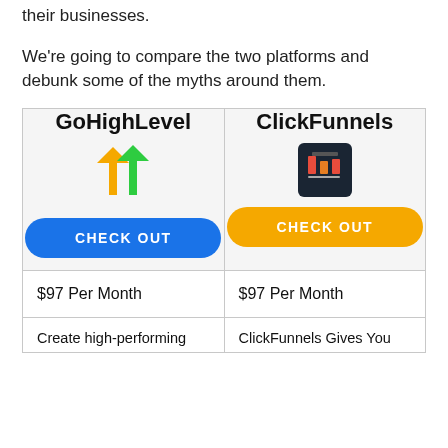their businesses.
We're going to compare the two platforms and debunk some of the myths around them.
| GoHighLevel | ClickFunnels |
| --- | --- |
| [GHL logo + arrows icon] CHECK OUT | [CF logo icon] CHECK OUT |
| $97 Per Month | $97 Per Month |
| Create high-performing | ClickFunnels Gives You |